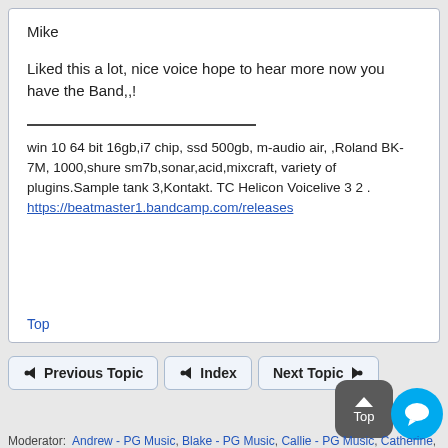Mike
Liked this a lot, nice voice hope to hear more now you have the Band,,!
win 10 64 bit 16gb,i7 chip, ssd 500gb, m-audio air, ,Roland BK-7M, 1000,shure sm7b,sonar,acid,mixcraft, variety of plugins.Sample tank 3,Kontakt. TC Helicon Voicelive 3 2 . https://beatmaster1.bandcamp.com/releases
Top
Previous Topic
Index
Next Topic
Top
Moderator:  Andrew - PG Music, Blake - PG Music, Callie - PG Music, Catherine, Chase